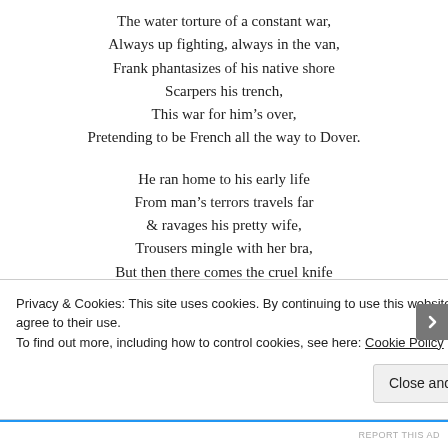The water torture of a constant war,
Always up fighting, always in the van,
Frank phantasizes of his native shore
Scarpers his trench,
This war for him’s over,
Pretending to be French all the way to Dover.

He ran home to his early life
From man’s terrors travels far
& ravages his pretty wife,
Trousers mingle with her bra,
But then there comes the cruel knife
To open up the scar,
Privacy & Cookies: This site uses cookies. By continuing to use this website, you agree to their use.
To find out more, including how to control cookies, see here: Cookie Policy
Close and accept